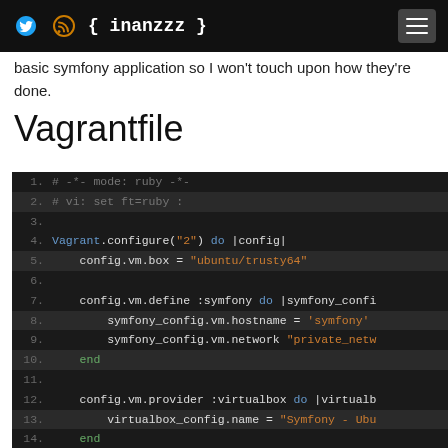{ inanzzz }
basic symfony application so I won't touch upon how they're done.
Vagrantfile
[Figure (screenshot): Code block showing a Vagrantfile in a dark-themed syntax-highlighted editor. Lines 1-14 show Ruby-syntax Vagrant configuration including box setup, VM define with symfony hostname and private_network, and virtualbox provider configuration.]